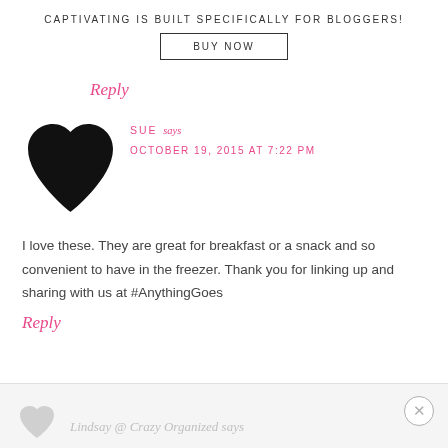CAPTIVATING IS BUILT SPECIFICALLY FOR BLOGGERS!
BUY NOW
Reply
[Figure (illustration): Black heart shape avatar icon for commenter Sue]
SUE says
OCTOBER 19, 2015 AT 7:22 PM
I love these. They are great for breakfast or a snack and so convenient to have in the freezer. Thank you for linking up and sharing with us at #AnythingGoes
Reply
Lindsay @ Crazy Organized says